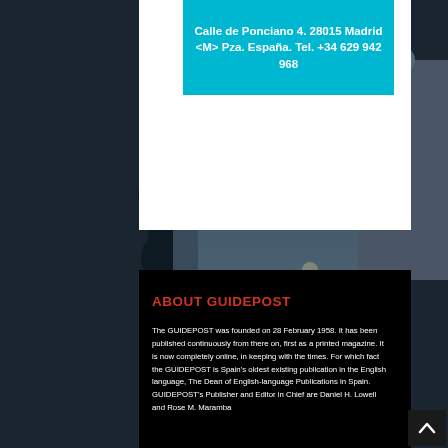[Figure (photo): Background photo of Madrid cityscape with fountain, buildings including a historic domed structure, and city lights. Photo spans the full page behind all content.]
Calle de Ponciano 4. 28015 Madrid
<M> Pza. España. Tel. +34 629 942 968
ABOUT GUIDEPOST
The GUIDEPOST was founded on 28 February 1958. It has been published continuously from there on, first as a printed magazine. It is now completely online, in keeping with the times. For which fact the GUIDEPOST is Spain's oldest existing publication in the English language, The Dean of English-language Publications in Spain. GUIDEPOST's Publisher and Editor in Chief are Daniel H. Lowell and Rose M. Maramba